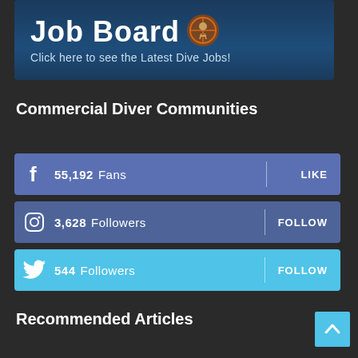[Figure (illustration): Job Board banner with dark blue background, large text 'Job Board' and subtitle 'Click here to see the Latest Dive Jobs!' with a diver mascot illustration]
Commercial Diver Communities
55,192  Fans   LIKE
3,628  Followers   FOLLOW
544  Followers   FOLLOW
Recommended Articles